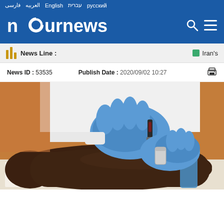فارسی العربیه English עברית русский
[Figure (logo): nournews logo with search and menu icons on blue background]
News Line : Iran's
News ID : 53535   Publish Date : 2020/09/02 10:27
[Figure (photo): Close-up photo of a healthcare worker in blue gloves drawing blood from a patient's dark-skinned arm using a needle and collection tube]